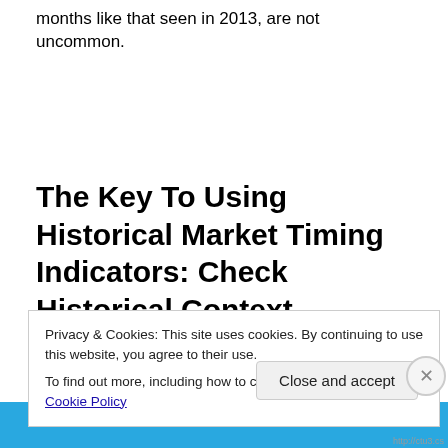months like that seen in 2013, are not uncommon.
The Key To Using Historical Market Timing Indicators: Check Historical Context
Privacy & Cookies: This site uses cookies. By continuing to use this website, you agree to their use.
To find out more, including how to control cookies, see here: Cookie Policy
Close and accept